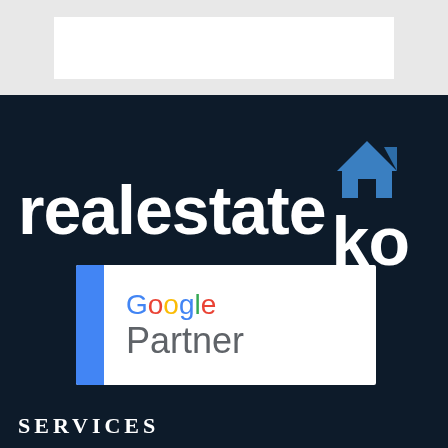[Figure (logo): realestate ko logo with house icon on dark navy background]
[Figure (logo): Google Partner badge with blue sidebar, Google wordmark in multicolor and Partner in grey]
SERVICES